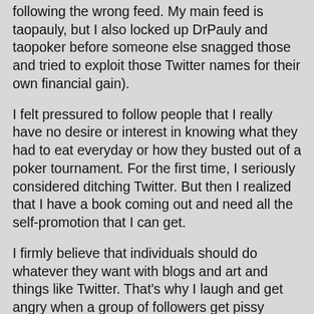following the wrong feed. My main feed is taopauly, but I also locked up DrPauly and taopoker before someone else snagged those and tried to exploit those Twitter names for their own financial gain).
I felt pressured to follow people that I really have no desire or interest in knowing what they had to eat everyday or how they busted out of a poker tournament. For the first time, I seriously considered ditching Twitter. But then I realized that I have a book coming out and need all the self-promotion that I can get.
I firmly believe that individuals should do whatever they want with blogs and art and things like Twitter. That's why I laugh and get angry when a group of followers get pissy about the content on Twitter and blogs. For example, Wil had a large city of followers (something like 573K). He's a hockey fan and likes to tweet during playoff games. These are among my favorite tweets from Wil. However, a group of his fans get so angry almost on the verge of a riot over his subject matter. Do they have any right to complain? Simply unfollow him. Or perhaps they should have a little patience. The